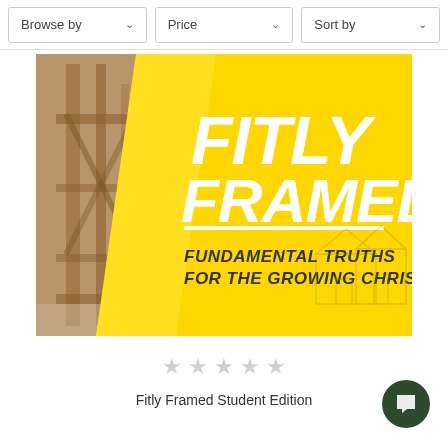Browse by | Price | Sort by
[Figure (illustration): Book cover image for Fitly Framed Student Edition showing a wood-framed building under construction on the left, and a large yellow diagonal overlay on the right with bold white italic text reading FITLY FRAMED, a white horizontal rule, and italic black text reading FUNDAMENTAL TRUTHS FOR THE GROWING CHRISTIAN. House outline graphics visible in bottom right corner.]
★ ★ ★ ★ ★
Fitly Framed Student Edition